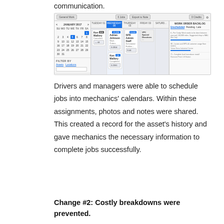communication.
[Figure (screenshot): A scheduling/work order management web application showing a calendar view for January 2017 with a weekly schedule. Columns show Tuesday through Saturday. Mechanics' cards are shown with names including Ken Mallory, Adrian Johnson, SFB Admin Staff. A Work Order Backlog panel is on the right with unscheduled, pending, and late tabs. Items listed include work orders about location and GPS tasks.]
Drivers and managers were able to schedule jobs into mechanics' calendars. Within these assignments, photos and notes were shared. This created a record for the asset's history and gave mechanics the necessary information to complete jobs successfully.
Change #2: Costly breakdowns were prevented.